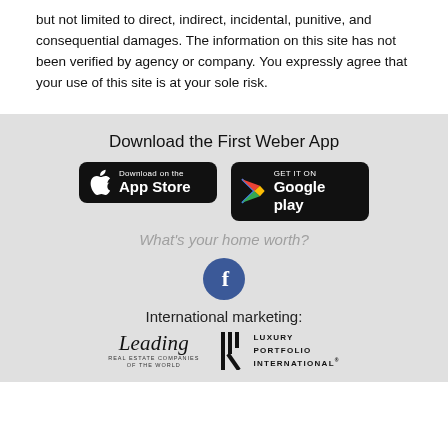but not limited to direct, indirect, incidental, punitive, and consequential damages. The information on this site has not been verified by agency or company. You expressly agree that your use of this site is at your sole risk.
Download the First Weber App
[Figure (logo): Apple App Store download button - black rounded rectangle with Apple logo and text 'Download on the App Store']
[Figure (logo): Google Play download button - black rounded rectangle with Google Play logo and text 'GET IT ON Google play']
What's your home worth?
[Figure (logo): Facebook icon - blue circle with white lowercase f]
International marketing:
[Figure (logo): Leading Real Estate Companies of the World logo - script text 'Leading' with subtitle 'REAL ESTATE COMPANIES OF THE WORLD']
[Figure (logo): Luxury Portfolio International logo - LP monogram icon with text 'LUXURY PORTFOLIO INTERNATIONAL']